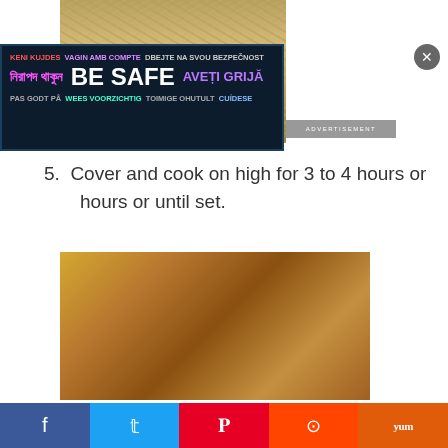[Figure (photo): Top-down view of shredded hash brown casserole with cheese in a dish]
[Figure (photo): Advertisement banner: BE SAFE in multiple languages on dark background]
5. Cover and cook on high for 3 to 4 hours or on low for 6 to 8 hours or until set.
[Figure (photo): Slice of layered casserole with golden cheesy top being lifted from slow cooker]
[Figure (other): Social sharing bar with Facebook, Twitter, Pinterest, Reddit, and Yummly buttons]